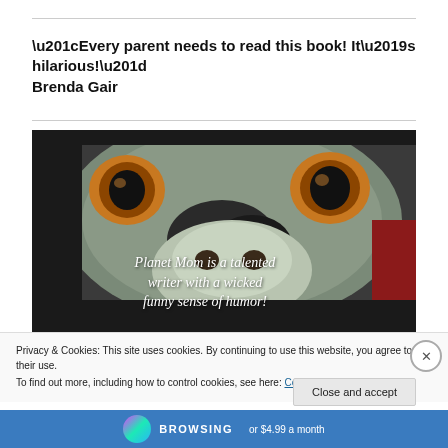“Every parent needs to read this book! It’s hilarious!” Brenda Gair
[Figure (photo): Close-up photo of an animal face (appears to be a dog or similar) with text overlay reading: Planet Mom is a talented writer with a wicked funny sense of humor!]
Privacy & Cookies: This site uses cookies. By continuing to use this website, you agree to their use.
To find out more, including how to control cookies, see here: Cookie Policy
Close and accept
BROWSING or $4.99 a month